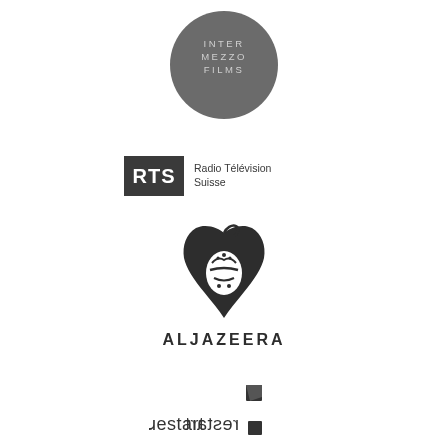[Figure (logo): Intermezzo Films logo — dark grey circle with 'INTER MEZZO FILMS' text inside in light grey uppercase letters]
[Figure (logo): RTS Radio Télévision Suisse logo — dark rectangle with 'RTS' in white bold letters, followed by 'Radio Télévision Suisse' text to the right]
[Figure (logo): Al Jazeera logo — Arabic calligraphy drop/flame shape above bold uppercase text 'ALJAZEERA']
[Figure (logo): Restart logo — mirrored '19start' text with small square geometric icon elements]